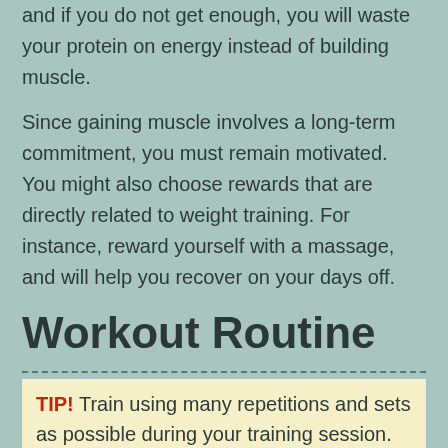and if you do not get enough, you will waste your protein on energy instead of building muscle.
Since gaining muscle involves a long-term commitment, you must remain motivated. You might also choose rewards that are directly related to weight training. For instance, reward yourself with a massage, and will help you recover on your days off.
Workout Routine
TIP! Train using many repetitions and sets as possible during your training session. Do at least 15 repetitions of